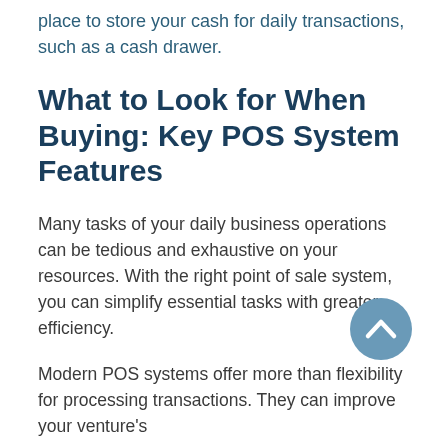place to store your cash for daily transactions, such as a cash drawer.
What to Look for When Buying: Key POS System Features
Many tasks of your daily business operations can be tedious and exhaustive on your resources. With the right point of sale system, you can simplify essential tasks with greater efficiency.
Modern POS systems offer more than flexibility for processing transactions. They can improve your venture's